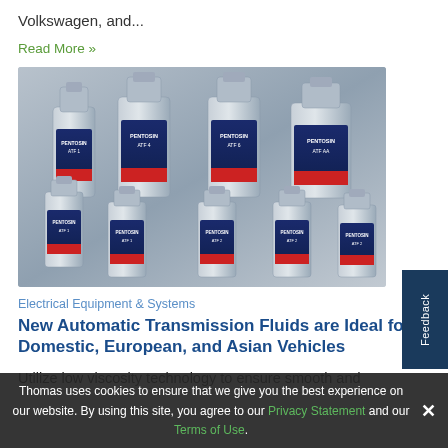Volkswagen, and...
Read More »
[Figure (photo): Multiple Pentosin ATF automatic transmission fluid bottles of various sizes arranged together on a gray background]
Electrical Equipment & Systems
New Automatic Transmission Fluids are Ideal for Domestic, European, and Asian Vehicles
Utilize low viscosity technology to ensure smooth and
Thomas uses cookies to ensure that we give you the best experience on our website. By using this site, you agree to our Privacy Statement and our Terms of Use.